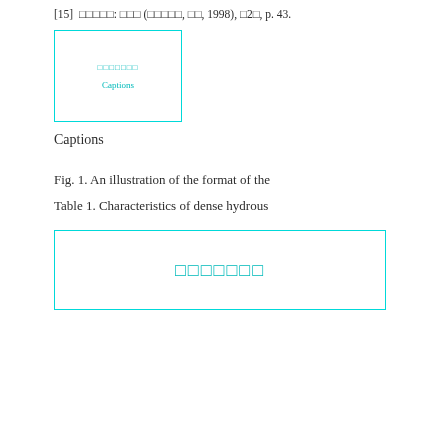[15]  □□□□□: □□□ (□□□□□, □□, 1998), □2□, p. 43.
[Figure (other): Small box with cyan text placeholder and 'Captions' label inside]
Captions
Fig. 1. An illustration of the format of the
Table 1. Characteristics of dense hydrous
[Figure (other): Large box with cyan placeholder text rectangles]